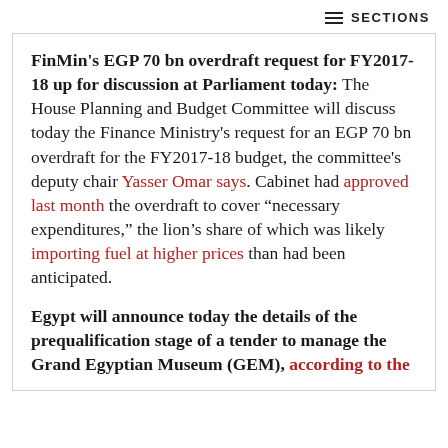SECTIONS
FinMin's EGP 70 bn overdraft request for FY2017-18 up for discussion at Parliament today: The House Planning and Budget Committee will discuss today the Finance Ministry's request for an EGP 70 bn overdraft for the FY2017-18 budget, the committee's deputy chair Yasser Omar says. Cabinet had approved last month the overdraft to cover “necessary expenditures,” the lion’s share of which was likely importing fuel at higher prices than had been anticipated.
Egypt will announce today the details of the prequalification stage of a tender to manage the Grand Egyptian Museum (GEM), according to the